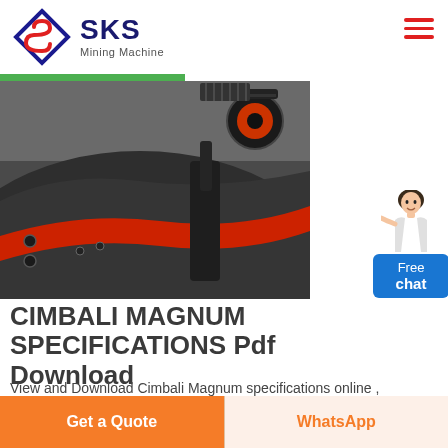[Figure (logo): SKS Mining Machine logo with diamond S icon and brand name]
[Figure (photo): Close-up photo of industrial mining machine showing dark grey metal components and a red belt/stripe]
CIMBALI MAGNUM SPECIFICATIONS Pdf Download
View and Download Cimbali Magnum specifications online , Grinder Cimbali Junior Specifications Pasquini junior
Get a Quote
WhatsApp